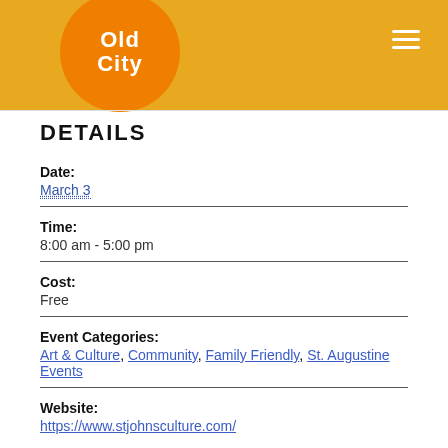Old City
DETAILS
Date:
March 3
Time:
8:00 am - 5:00 pm
Cost:
Free
Event Categories:
Art & Culture, Community, Family Friendly, St. Augustine Events
Website:
https://www.stjohnsculture.com/